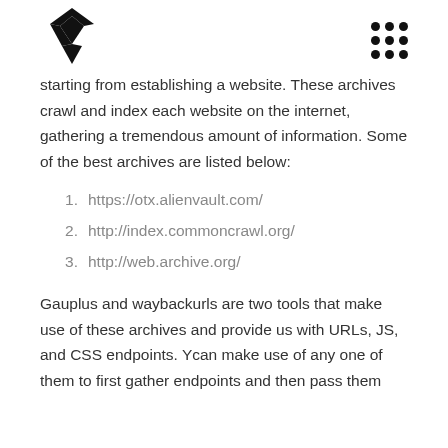[Logo] [Grid icon]
starting from establishing a website. These archives crawl and index each website on the internet, gathering a tremendous amount of information. Some of the best archives are listed below:
1. https://otx.alienvault.com/
2. http://index.commoncrawl.org/
3. http://web.archive.org/
Gauplus and waybackurls are two tools that make use of these archives and provide us with URLs, JS, and CSS endpoints. Ycan make use of any one of them to first gather endpoints and then pass them